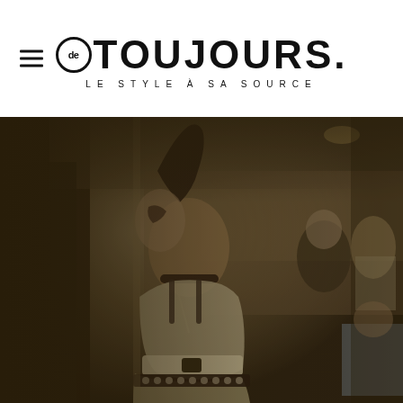de TOUJOURS. LE STYLE À SA SOURCE
[Figure (photo): Photograph of a punk-style woman standing in a subway/metro car. She has a partly shaved head with dark hair styled upward, wears a choker necklace and chain necklace, a white/cream sleeveless top, a wide belt, and a layered skirt with a studded belt. Other passengers are seated in the background. The photo has a dark, warm vintage tone.]